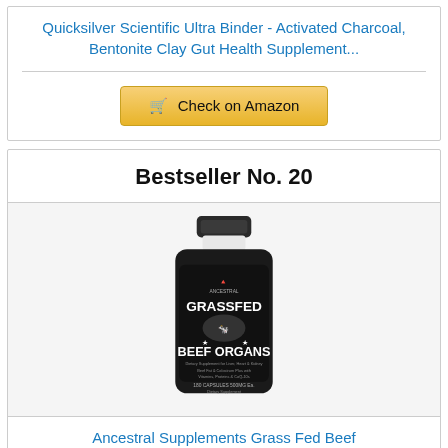Quicksilver Scientific Ultra Binder - Activated Charcoal, Bentonite Clay Gut Health Supplement...
Check on Amazon
Bestseller No. 20
[Figure (photo): Black supplement bottle labeled 'Grassfed Beef Organs' by Ancestral Supplements, with a cow image on the label]
Ancestral Supplements Grass Fed Beef